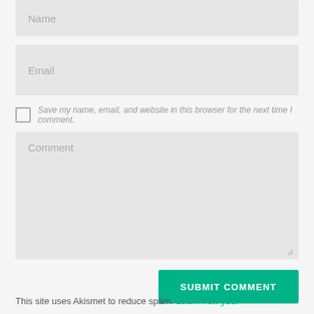Name
Email
Save my name, email, and website in this browser for the next time I comment.
Comment
SUBMIT COMMENT
This site uses Akismet to reduce spam. Learn how your